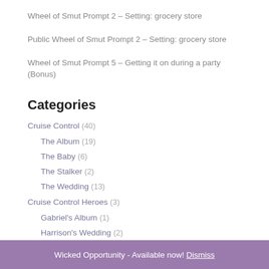Wheel of Smut Prompt 2 – Setting: grocery store
Public Wheel of Smut Prompt 2 – Setting: grocery store
Wheel of Smut Prompt 5 – Getting it on during a party (Bonus)
Categories
Cruise Control (40)
The Album (19)
The Baby (6)
The Stalker (2)
The Wedding (13)
Cruise Control Heroes (3)
Gabriel's Album (1)
Harrison's Wedding (2)
Wicked Opportunity - Available now! Dismiss